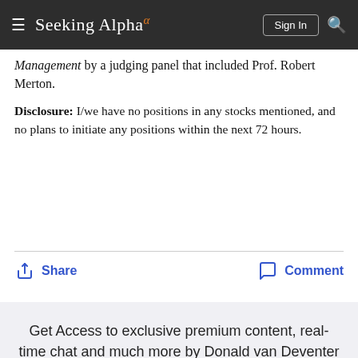Seeking Alpha
Management by a judging panel that included Prof. Robert Merton.
Disclosure: I/we have no positions in any stocks mentioned, and no plans to initiate any positions within the next 72 hours.
Share   Comment
Get Access to exclusive premium content, real-time chat and much more by Donald van Deventer with:
Summer Sale: 50% off Premium for a limited time only »